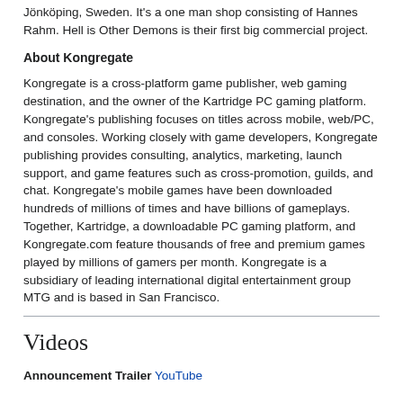Jönköping, Sweden. It's a one man shop consisting of Hannes Rahm. Hell is Other Demons is their first big commercial project.
About Kongregate
Kongregate is a cross-platform game publisher, web gaming destination, and the owner of the Kartridge PC gaming platform. Kongregate's publishing focuses on titles across mobile, web/PC, and consoles. Working closely with game developers, Kongregate publishing provides consulting, analytics, marketing, launch support, and game features such as cross-promotion, guilds, and chat. Kongregate's mobile games have been downloaded hundreds of millions of times and have billions of gameplays. Together, Kartridge, a downloadable PC gaming platform, and Kongregate.com feature thousands of free and premium games played by millions of gamers per month. Kongregate is a subsidiary of leading international digital entertainment group MTG and is based in San Francisco.
Videos
Announcement Trailer  YouTube